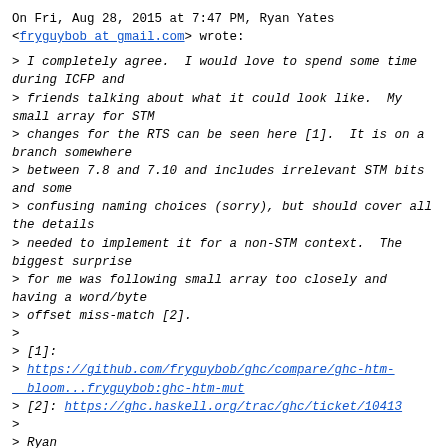On Fri, Aug 28, 2015 at 7:47 PM, Ryan Yates <fryguybob at gmail.com> wrote:
> I completely agree.  I would love to spend some time during ICFP and
> friends talking about what it could look like.  My small array for STM
> changes for the RTS can be seen here [1].  It is on a branch somewhere
> between 7.8 and 7.10 and includes irrelevant STM bits and some
> confusing naming choices (sorry), but should cover all the details
> needed to implement it for a non-STM context.  The biggest surprise
> for me was following small array too closely and having a word/byte
> offset miss-match [2].
>
> [1]:
> https://github.com/fryguybob/ghc/compare/ghc-htm-bloom...fryguybob:ghc-htm-mut
> [2]: https://ghc.haskell.org/trac/ghc/ticket/10413
>
> Ryan
>
> On Fri, Aug 28, 2015 at 10:09 PM, Edward Kmett <ekmett at gmail.com> wrote:
> > I'd love to have that last 10%, but its a lot of